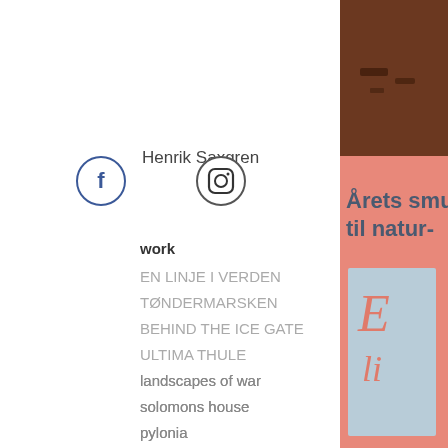Henrik Saxgren
[Figure (logo): Facebook icon circle]
[Figure (logo): Instagram icon circle]
work
EN LINJE I VERDEN
TØNDERMARSKEN
BEHIND THE ICE GATE
ULTIMA THULE
landscapes of war
solomons house
pylonia
war and love
unintended sculptures
creature nova
books
EN LINJE I VERDEN
TØNDERMARSKEN
ULTIMA THULE
[Figure (photo): Dark brown wooden surface with small mark details, top right corner photo]
[Figure (photo): Salmon/coral pink promotional panel with Danish text 'Årets smu... til natur-' and a book cover partially visible]